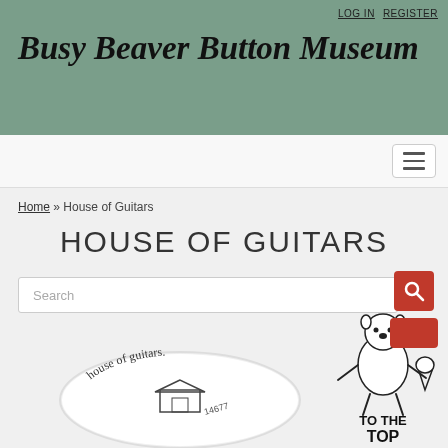LOG IN   REGISTER
Busy Beaver Button Museum
Home » House of Guitars
HOUSE OF GUITARS
Search
[Figure (illustration): Circular button/pin with 'house of guitars' text and building illustration, with phone number 14677]
[Figure (illustration): Cartoon beaver mascot holding a cone, with 'TO THE TOP' text below]